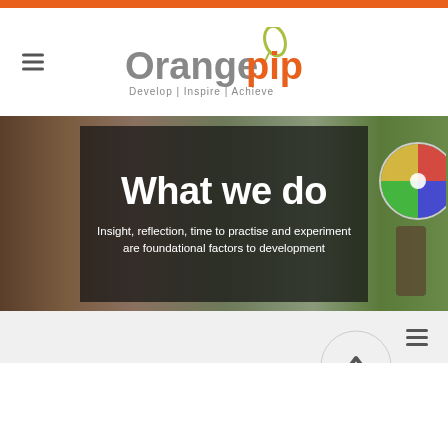Orangepip — Develop | Inspire | Achieve
[Figure (photo): Hero section with dark overlay box on a blurred outdoor photo. Large white text reads 'What we do' and subtext: 'Insight, reflection, time to practise and experiment are foundational factors to development']
What we do
Insight, reflection, time to practise and experiment are foundational factors to development
[Figure (infographic): Gray navigation bar with hamburger menu icon on right, and a circular scroll-up button with upward arrow below]